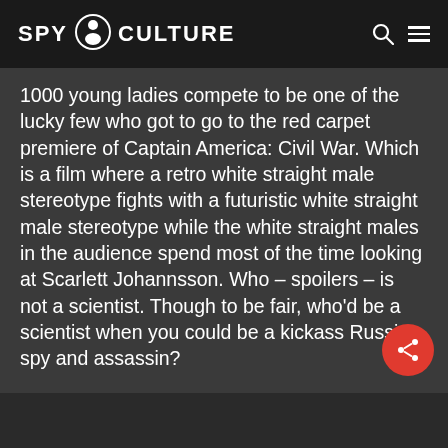SPY CULTURE
1000 young ladies compete to be one of the lucky few who got to go to the red carpet premiere of Captain America: Civil War. Which is a film where a retro white straight male stereotype fights with a futuristic white straight male stereotype while the white straight males in the audience spend most of the time looking at Scarlett Johannsson. Who – spoilers – is not a scientist. Though to be fair, who'd be a scientist when you could be a kickass Russian spy and assassin?
[Figure (photo): Bottom strip of a photograph partially visible at the bottom of the page]